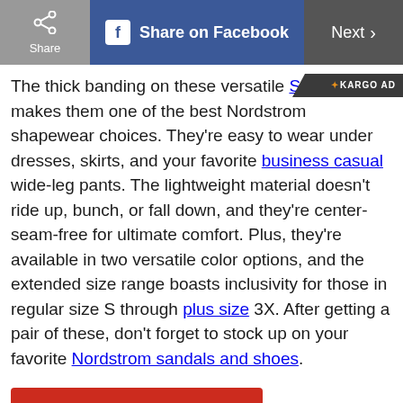Share | Share on Facebook | Next >
The thick banding on these versatile Spanx makes them one of the best Nordstrom shapewear choices. They're easy to wear under dresses, skirts, and your favorite business casual wide-leg pants. The lightweight material doesn't ride up, bunch, or fall down, and they're center-seam-free for ultimate comfort. Plus, they're available in two versatile color options, and the extended size range boasts inclusivity for those in regular size S through plus size 3X. After getting a pair of these, don't forget to stock up on your favorite Nordstrom sandals and shoes.
[Figure (other): Kargo Ad badge overlay in top right of text area]
Shop Now